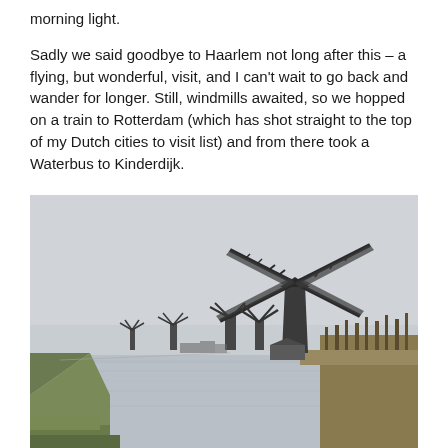morning light.
Sadly we said goodbye to Haarlem not long after this – a flying, but wonderful, visit, and I can't wait to go back and wander for longer. Still, windmills awaited, so we hopped on a train to Rotterdam (which has shot straight to the top of my Dutch cities to visit list) and from there took a Waterbus to Kinderdijk.
[Figure (photo): A landscape photograph showing a row of traditional Dutch windmills at Kinderdijk along a canal. The windmills line the right bank, with green grass and reeds in the foreground. The sky is overcast and grey. A large windmill dominates the right side with its sails spread wide. Smaller windmills recede into the distance on the left.]